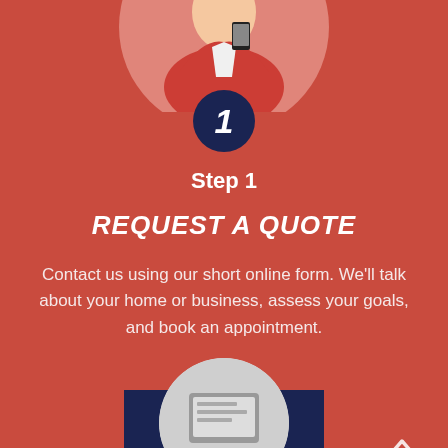[Figure (illustration): Circular cropped photo of a person in a red jacket holding a phone, with a dark navy circle badge showing the number 1 overlaid at the bottom of the circle]
Step 1
REQUEST A QUOTE
Contact us using our short online form. We'll talk about your home or business, assess your goals, and book an appointment.
[Figure (illustration): Dark navy rectangular button with text CONTACT US]
[Figure (illustration): Partial circular image at the bottom of the page, partially cropped]